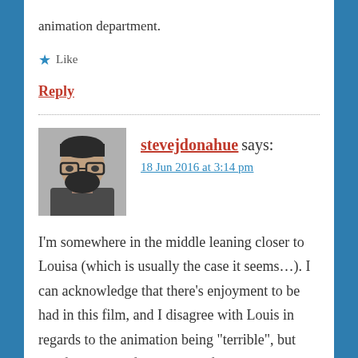animation department.
★ Like
Reply
stevejdonahue says:
18 Jun 2016 at 3:14 pm
[Figure (photo): Black and white avatar photo of a man with glasses and a beard]
I'm somewhere in the middle leaning closer to Louisa (which is usually the case it seems...). I can acknowledge that there's enjoyment to be had in this film, and I disagree with Louis in regards to the animation being "terrible", but this film is a perfect example for the words